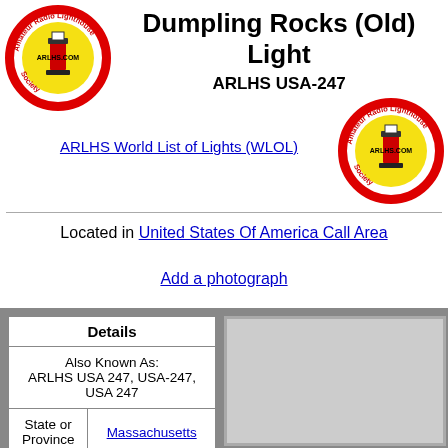[Figure (logo): ARLHS Amateur Radio Lighthouse Society circular logo with lighthouse, left side]
Dumpling Rocks (Old) Light
ARLHS USA-247
[Figure (logo): ARLHS Amateur Radio Lighthouse Society circular logo with lighthouse, right side]
ARLHS World List of Lights (WLOL)
Located in United States Of America Call Area
Add a photograph
| Details |
| --- |
| Also Known As: ARLHS USA 247, USA-247, USA 247 |
| State or Province | Massachusetts |